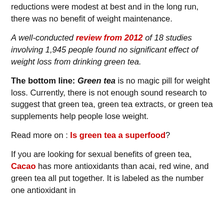reductions were modest at best and in the long run, there was no benefit of weight maintenance.
A well-conducted review from 2012 of 18 studies involving 1,945 people found no significant effect of weight loss from drinking green tea.
The bottom line: Green tea is no magic pill for weight loss. Currently, there is not enough sound research to suggest that green tea, green tea extracts, or green tea supplements help people lose weight.
Read more on : Is green tea a superfood?
If you are looking for sexual benefits of green tea, Cacao has more antioxidants than acai, red wine, and green tea all put together. It is labeled as the number one antioxidant in